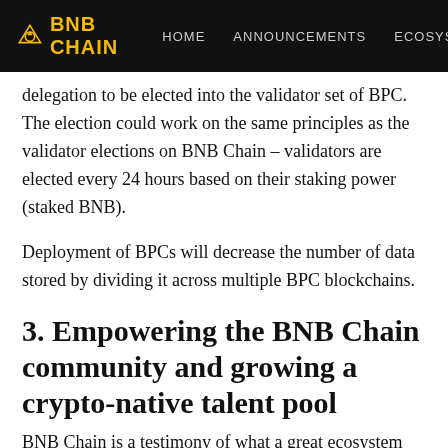BNB CHAIN  HOME  ANNOUNCEMENTS  ECOSYS
delegation to be elected into the validator set of BPC. The election could work on the same principles as the validator elections on BNB Chain – validators are elected every 24 hours based on their staking power (staked BNB).
Deployment of BPCs will decrease the number of data stored by dividing it across multiple BPC blockchains.
3. Empowering the BNB Chain community and growing a crypto-native talent pool
BNB Chain is a testimony of what a great ecosystem